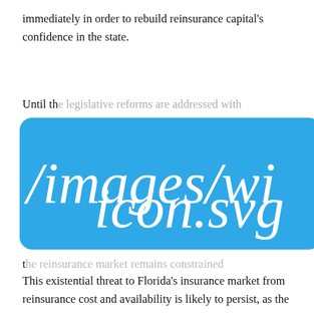immediately in order to rebuild reinsurance capital's confidence in the state.
Until th[e reforms are complete, the market will need t]o [b]e...
[Figure (other): Broken image placeholder showing path /images/widget/icon.svg on a blue rounded rectangle background]
t[he reinsurance market...]
This existential threat to Florida's insurance market from reinsurance cost and availability is likely to persist, as the